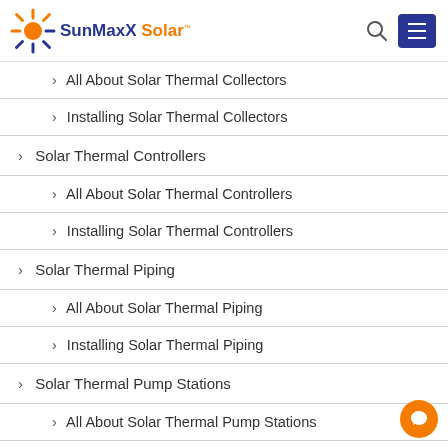SunMaxX Solar
All About Solar Thermal Collectors
Installing Solar Thermal Collectors
Solar Thermal Controllers
All About Solar Thermal Controllers
Installing Solar Thermal Controllers
Solar Thermal Piping
All About Solar Thermal Piping
Installing Solar Thermal Piping
Solar Thermal Pump Stations
All About Solar Thermal Pump Stations
Installing Solar Thermal Pump Stations